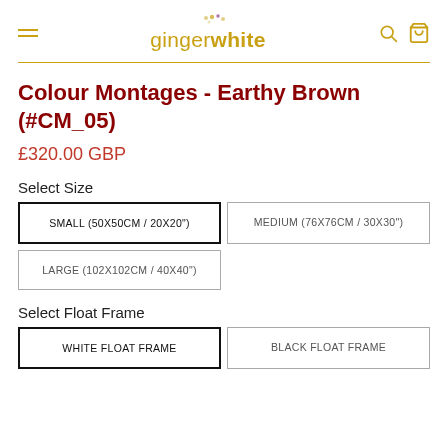ginger white
Colour Montages - Earthy Brown (#CM_05)
£320.00 GBP
Select Size
SMALL (50X50CM / 20X20")
MEDIUM (76X76CM / 30X30")
LARGE (102X102CM / 40X40")
Select Float Frame
WHITE FLOAT FRAME
BLACK FLOAT FRAME